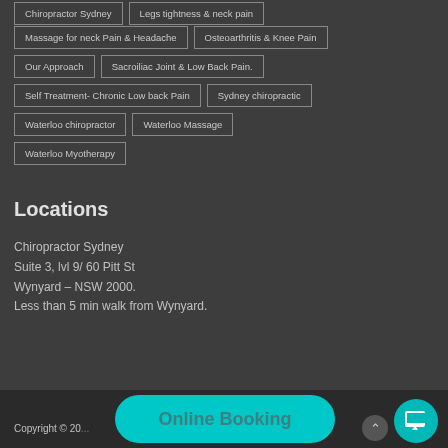Chiropractor Sydney
Legs tightness & neck pain
Massage for neck Pain & Headache
Osteoarthritis & Knee Pain
Our Approach
Sacroiliac Joint & Low Back Pain.
Self Treatment- Chronic Low back Pain
Sydney chiropractic
Waterloo chiropractor
Waterloo Massage
Waterloo Myotherapy
Locations
Chiropractor Sydney
Suite 3, lvl 9/ 60 Pitt St
Wynyard – NSW 2000.
Less than 5 min walk from Wynyard.
Copyright © 20...  ...assage